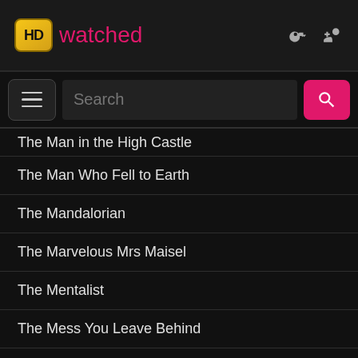[Figure (logo): HDwatched logo with golden HD badge and pink 'watched' text]
[Figure (screenshot): Search bar with hamburger menu button and pink search button]
The Man in the High Castle
The Man Who Fell to Earth
The Mandalorian
The Marvelous Mrs Maisel
The Mentalist
The Mess You Leave Behind
The Mist
The Morning Show
The Mosquito Coast